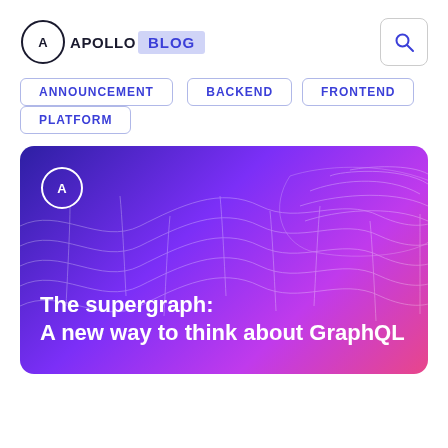APOLLO BLOG
ANNOUNCEMENT
BACKEND
FRONTEND
PLATFORM
[Figure (illustration): Apollo Blog card with purple-to-pink gradient background, wave mesh graphic, Apollo logo, and text: The supergraph: A new way to think about GraphQL]